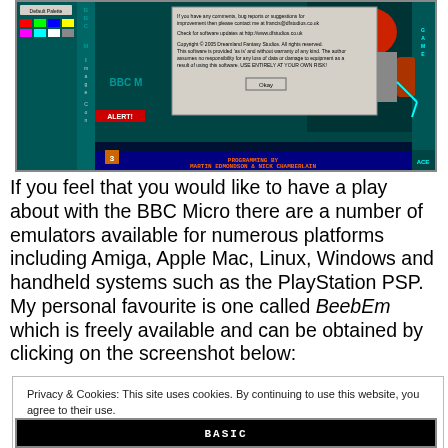[Figure (screenshot): BBC Micro Image Converter software screenshot with a dialog box showing copyright/contact info and an Okay button, robot artwork in background, teal/black color scheme]
If you feel that you would like to have a play about with the BBC Micro there are a number of emulators available for numerous platforms including Amiga, Apple Mac, Linux, Windows and handheld systems such as the PlayStation PSP. My personal favourite is one called BeebEm which is freely available and can be obtained by clicking on the screenshot below:
Privacy & Cookies: This site uses cookies. By continuing to use this website, you agree to their use.
To find out more, including how to control cookies, see here: Cookie Policy
Close and accept
[Figure (screenshot): Bottom portion of a BBC Micro emulator screenshot showing BASIC text on black background]